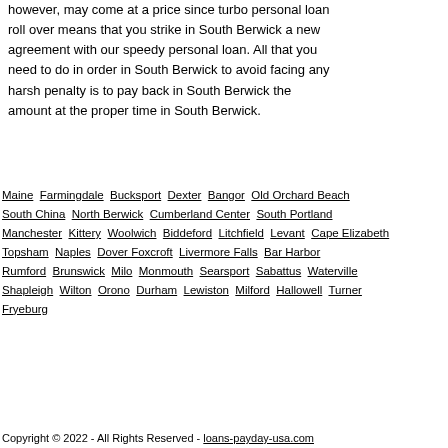however, may come at a price since turbo personal loan roll over means that you strike in South Berwick a new agreement with our speedy personal loan. All that you need to do in order in South Berwick to avoid facing any harsh penalty is to pay back in South Berwick the amount at the proper time in South Berwick.
Maine Farmingdale Bucksport Dexter Bangor Old Orchard Beach South China North Berwick Cumberland Center South Portland Manchester Kittery Woolwich Biddeford Litchfield Levant Cape Elizabeth Topsham Naples Dover Foxcroft Livermore Falls Bar Harbor Rumford Brunswick Milo Monmouth Searsport Sabattus Waterville Shapleigh Wilton Orono Durham Lewiston Milford Hallowell Turner Fryeburg
Copyright © 2022 - All Rights Reserved - loans-payday-usa.com